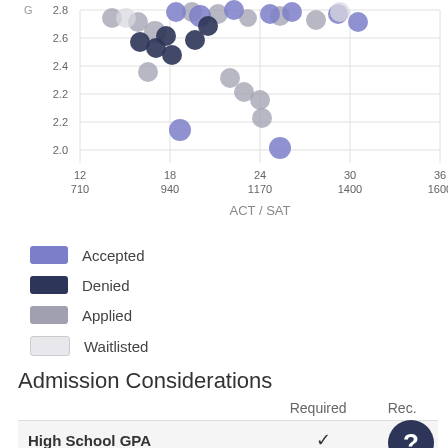[Figure (continuous-plot): Scatter plot showing GPA (y-axis, 2.0–2.8) vs ACT/SAT scores (x-axis, 12/710 to 36/1600). Data points are colored by admission status: purple (Accepted), dark navy (Denied), gray (Applied), light gray (Waitlisted). Multiple overlapping circles are shown.]
Accepted
Denied
Applied
Waitlisted
Admission Considerations
|  | Required | Rec. |
| --- | --- | --- |
| High School GPA | ✓ |  |
| High School Rank |  |  |
| High School Transcript |  |  |